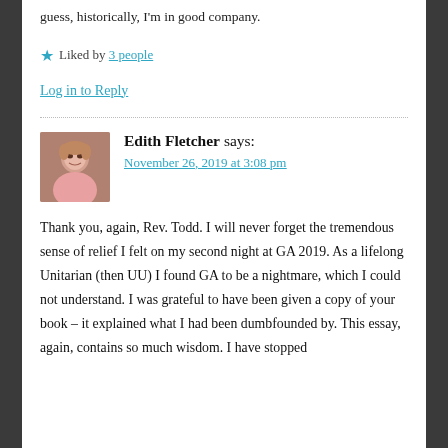guess, historically, I'm in good company.
Liked by 3 people
Log in to Reply
Edith Fletcher says:
November 26, 2019 at 3:08 pm
Thank you, again, Rev. Todd. I will never forget the tremendous sense of relief I felt on my second night at GA 2019. As a lifelong Unitarian (then UU) I found GA to be a nightmare, which I could not understand. I was grateful to have been given a copy of your book – it explained what I had been dumbfounded by. This essay, again, contains so much wisdom. I have stopped